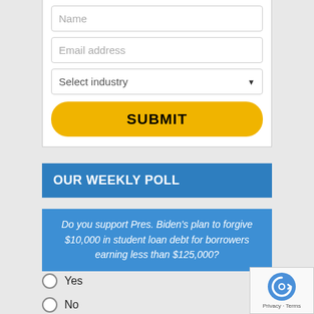Name
Email address
Select industry
SUBMIT
OUR WEEKLY POLL
Do you support Pres. Biden's plan to forgive $10,000 in student loan debt for borrowers earning less than $125,000?
Yes
No